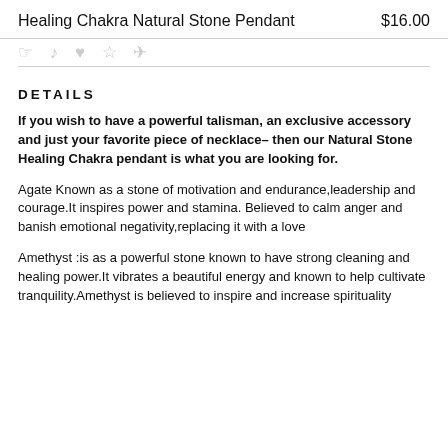Healing Chakra Natural Stone Pendant  $16.00
DETAILS
If you wish to have a powerful talisman, an exclusive accessory and just your favorite piece of necklace– then our Natural Stone Healing Chakra pendant is what you are looking for.
Agate Known as a stone of motivation and endurance,leadership and courage.It inspires power and stamina. Believed to calm anger and banish emotional negativity,replacing it with a love
Amethyst :is as a powerful stone known to have strong cleaning and healing power.It vibrates a beautiful energy and known to help cultivate tranquility.Amethyst is believed to inspire and increase spirituality